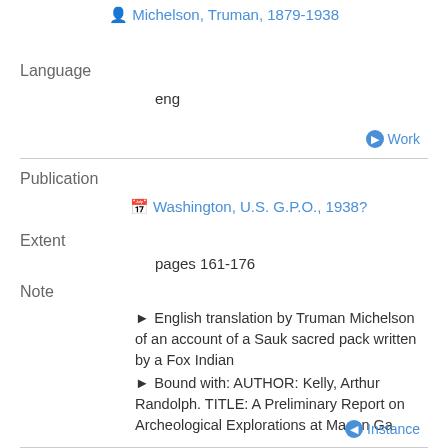Michelson, Truman, 1879-1938
Language
eng
Work
Publication
Washington, U.S. G.P.O., 1938?
Extent
pages 161-176
Note
English translation by Truman Michelson of an account of a Sauk sacred pack written by a Fox Indian
Bound with: AUTHOR: Kelly, Arthur Randolph. TITLE: A Preliminary Report on Archeological Explorations at Macon Ga
Instance